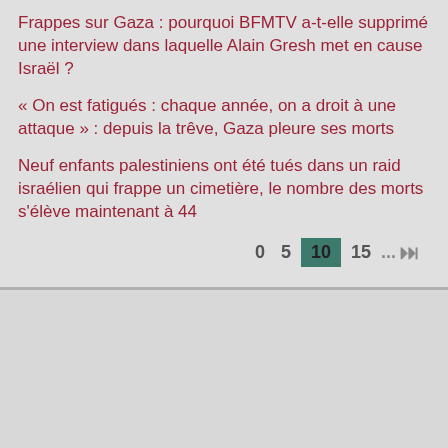Frappes sur Gaza : pourquoi BFMTV a-t-elle supprimé une interview dans laquelle Alain Gresh met en cause Israël ?
« On est fatigués : chaque année, on a droit à une attaque » : depuis la trêve, Gaza pleure ses morts
Neuf enfants palestiniens ont été tués dans un raid israélien qui frappe un cimetière, le nombre des morts s'élève maintenant à 44
Pagination: 0 5 10 (active) 15 ... last